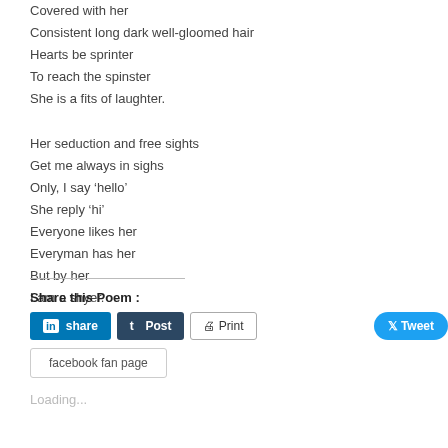Covered with her
Consistent long dark well-gloomed hair
Hearts be sprinter
To reach the spinster
She is a fits of laughter.

Her seduction and free sights
Get me always in sighs
Only, I say ‘hello’
She reply ‘hi’
Everyone likes her
Everyman has her
But by her
I am a shyer.
Share this Poem :
Loading...